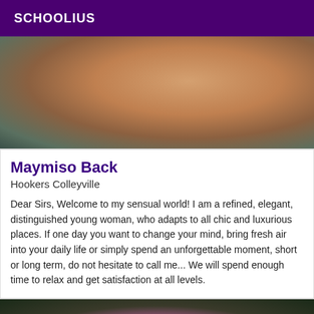SCHOOLIUS
[Figure (photo): Close-up photo of a person's torso/back with a tattoo, lying down]
Maymiso Back
Hookers Colleyville
Dear Sirs, Welcome to my sensual world! I am a refined, elegant, distinguished young woman, who adapts to all chic and luxurious places. If one day you want to change your mind, bring fresh air into your daily life or simply spend an unforgettable moment, short or long term, do not hesitate to call me... We will spend enough time to relax and get satisfaction at all levels.
[Figure (photo): Partial photo visible at bottom of page, dark background with pink/magenta tones]